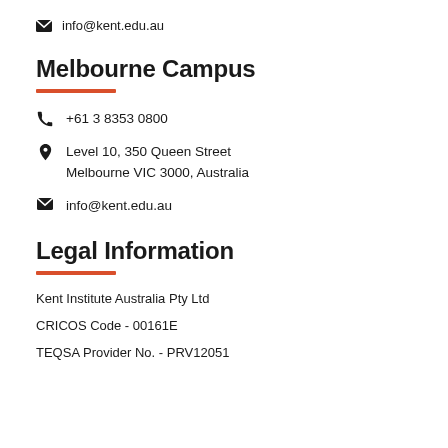info@kent.edu.au
Melbourne Campus
+61 3 8353 0800
Level 10, 350 Queen Street
Melbourne VIC 3000, Australia
info@kent.edu.au
Legal Information
Kent Institute Australia Pty Ltd
CRICOS Code - 00161E
TEQSA Provider No. - PRV12051